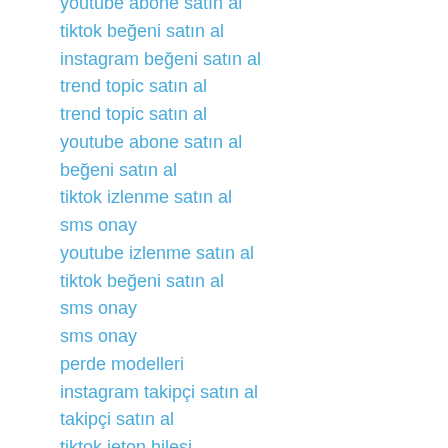youtube abone satın al
tiktok beğeni satın al
instagram beğeni satın al
trend topic satın al
trend topic satın al
youtube abone satın al
beğeni satın al
tiktok izlenme satın al
sms onay
youtube izlenme satın al
tiktok beğeni satın al
sms onay
sms onay
perde modelleri
instagram takipçi satın al
takipçi satın al
tiktok jeton hilesi
pubg uc satın al
sultanbet
marsbahis
betboo
betboo
betboo